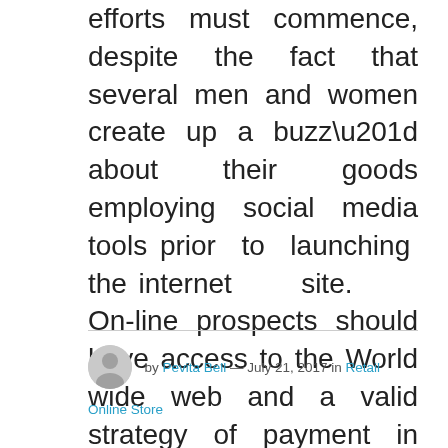efforts must commence, despite the fact that several men and women create up a buzz” about their goods employing social media tools prior to launching the internet site. On-line prospects should have access to the World wide web and a valid strategy of payment in order to total a transaction....
Read the rest >>>
by Pevita Bell — July 21, 2017 in Retail Online Store